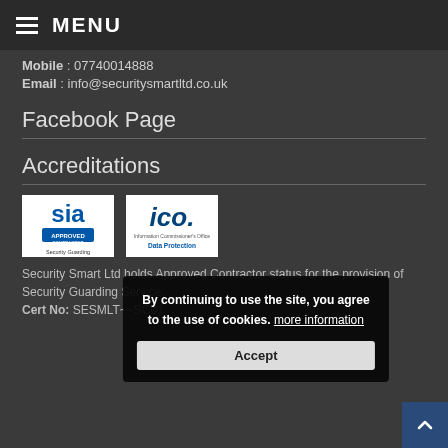≡ MENU
Mobile : 07740014888
Email : info@securitysmartltd.co.uk
Facebook Page
Accreditations
[Figure (logo): SIA Approved Contractor Security Guarding logo]
[Figure (logo): ICO Data Protection logo]
By continuing to use the site, you agree to the use of cookies. more information
Accept
Security Smart Ltd holds Approved Contractor status for the provision of Security Guarding Service.
Cert No: SESMLT~~SC01